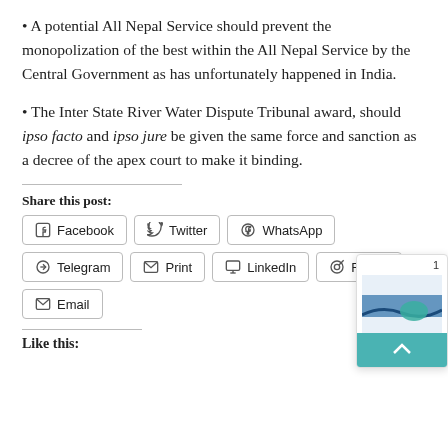• A potential All Nepal Service should prevent the monopolization of the best within the All Nepal Service by the Central Government as has unfortunately happened in India.
• The Inter State River Water Dispute Tribunal award, should ipso facto and ipso jure be given the same force and sanction as a decree of the apex court to make it binding.
Share this post:
Facebook Twitter WhatsApp Telegram Print LinkedIn Reddit Email
Like this: